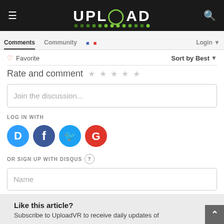UPLOAD
Comments   Community   Login
Favorite   Sort by Best
Rate and comment ★★★★★
Join the discussion...
LOG IN WITH
[Figure (logo): Social login icons: Disqus (blue D), Facebook (dark blue f), Twitter (blue bird), Google (red G)]
OR SIGN UP WITH DISQUS ?
Name
Like this article?
Subscribe to UploadVR to receive daily updates of